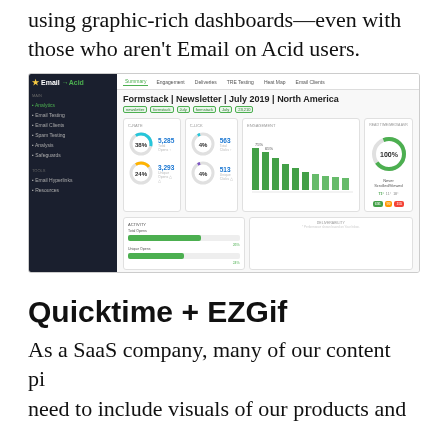using graphic-rich dashboards—even with those who aren't Email on Acid users.
[Figure (screenshot): Screenshot of Email on Acid analytics dashboard showing campaign metrics for Formstack Newsletter July 2019 North America, including open rates (38%), unique opens (5,285), click rate (4%), clicks (563), donut charts, bar charts, and engagement graphs.]
Quicktime + EZGif
As a SaaS company, many of our content pieces need to include visuals of our products and processes. I personally love to add GIFs into the